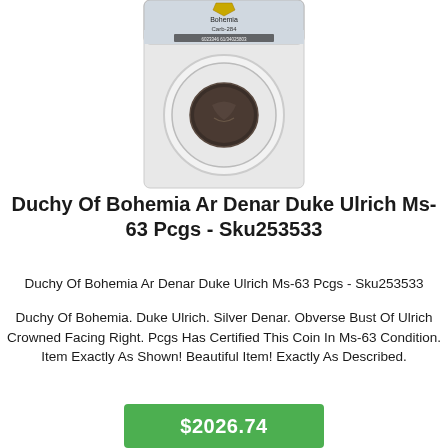[Figure (photo): A PCGS-certified coin in a plastic slab holder. The label at the top reads 'Bohemia Carb-284'. The coin inside shows a dark, ancient-looking silver denar. The slab has a gold shield logo at the top.]
Duchy Of Bohemia Ar Denar Duke Ulrich Ms-63 Pcgs - Sku253533
Duchy Of Bohemia Ar Denar Duke Ulrich Ms-63 Pcgs - Sku253533
Duchy Of Bohemia. Duke Ulrich. Silver Denar. Obverse Bust Of Ulrich Crowned Facing Right. Pcgs Has Certified This Coin In Ms-63 Condition. Item Exactly As Shown! Beautiful Item! Exactly As Described.
$2026.74